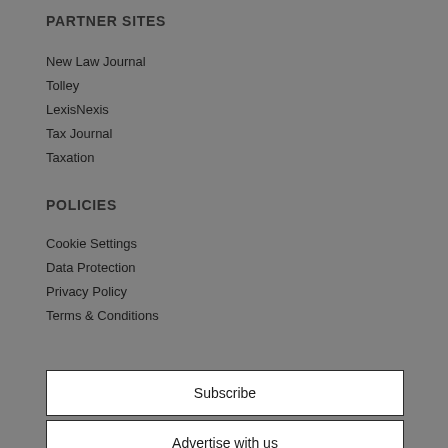PARTNER SITES
New Law Journal
Tolley
LexisNexis
Tax Journal
Taxation
POLICIES
Cookie Settings
Data Protection
Privacy Policy
Terms & Conditions
Subscribe
Advertise with us